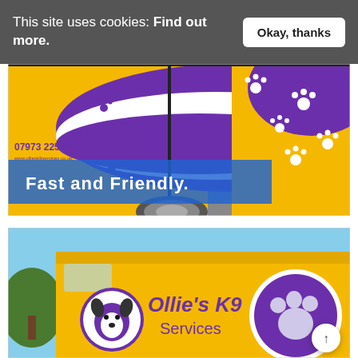This site uses cookies: Find out more.
[Figure (photo): Yellow and purple van with white paw print decals. Phone number 07973 225072 visible on side. Blue semi-transparent overlay banner with text 'Fast and Friendly.' in white bold font.]
[Figure (photo): Yellow van with Ollie's K9 Services branding in purple text, featuring a dog logo and large paw print circle graphic on the side.]